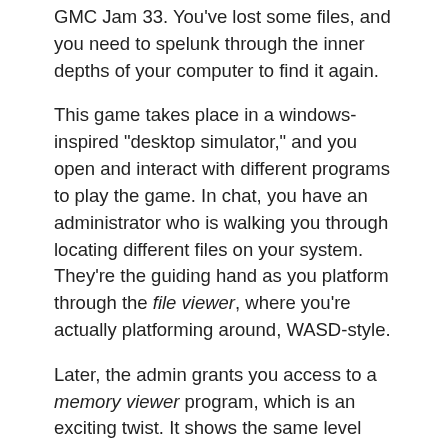GMC Jam 33. You've lost some files, and you need to spelunk through the inner depths of your computer to find it again.
This game takes place in a windows-inspired "desktop simulator," and you open and interact with different programs to play the game. In chat, you have an administrator who is walking you through locating different files on your system. They're the guiding hand as you platform through the file viewer, where you're actually platforming around, WASD-style.
Later, the admin grants you access to a memory viewer program, which is an exciting twist. It shows the same level you're interacting within the file viewer, but the memory viewer can see things the file viewer can't. You even interact with the world differently—as mouse cursor on rails, traveling through walls and floors. While you're going